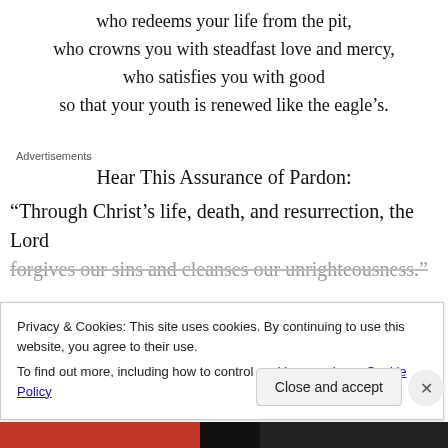who redeems your life from the pit,
who crowns you with steadfast love and mercy,
who satisfies you with good
so that your youth is renewed like the eagle's.
Advertisements
Hear This Assurance of Pardon:
“Through Christ’s life, death, and resurrection, the Lord forgives our sins and cleanses our unrighteousness.”
Privacy & Cookies: This site uses cookies. By continuing to use this website, you agree to their use.
To find out more, including how to control cookies, see here: Cookie Policy
Close and accept